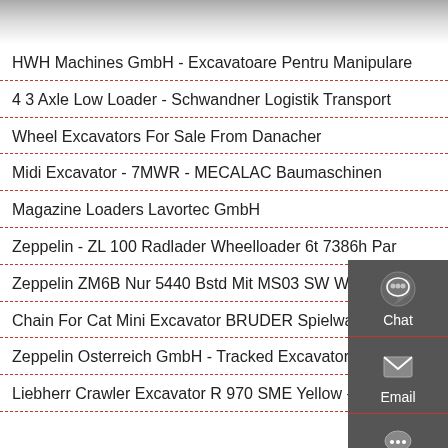HWH Machines GmbH - Excavatoare Pentru Manipulare
4 3 Axle Low Loader - Schwandner Logistik Transport
Wheel Excavators For Sale From Danacher
Midi Excavator - 7MWR - MECALAC Baumaschinen
Magazine Loaders Lavortec GmbH
Zeppelin - ZL 100 Radlader Wheelloader 6t 7386h Par
Zeppelin ZM6B Nur 5440 Bstd Mit MS03 SW Wheel
Chain For Cat Mini Excavator BRUDER Spielwaren
Zeppelin Osterreich GmbH - Tracked Excavators For
Liebherr Crawler Excavator R 970 SME Yellow -